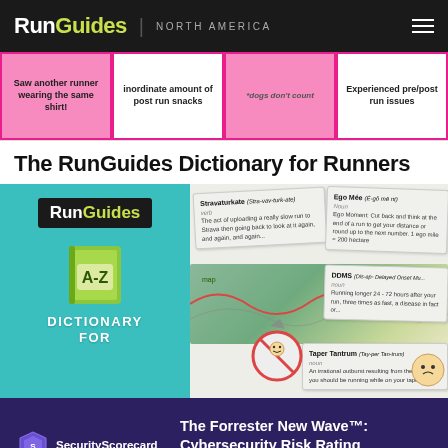RunGuides | NORTH AMERICA
[Figure (photo): Bingo card strips showing running-themed squares: 'Saw another runner wearing the same shirt!', 'inordinate amount of post run snacks', '*dogs don't count', 'Experienced pre/post run issues']
The RunGuides Dictionary for Runners
[Figure (illustration): RunGuides Dictionary for Runners book cover on teal background with A-Z green book icon and 'DICTIONARY FOR...' text]
[Figure (illustration): Collage of dictionary-style cards showing runner terms: 'Strava-turkate', 'Ego Mée', 'DDMS', 'Stravel', 'Taper Tantrum' with cartoon illustrations]
[Figure (advertisement): SecurityScorecard ad: The Forrester New Wave™: Cybersecurity Risk Rating Platforms, Q1 2021]